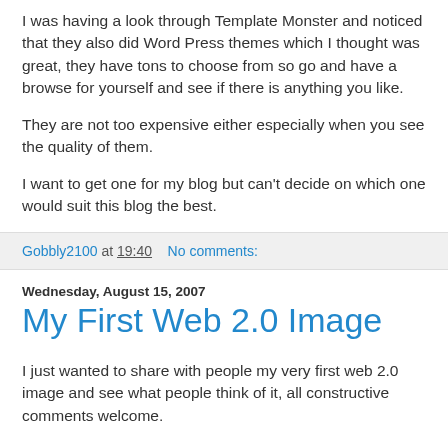I was having a look through Template Monster and noticed that they also did Word Press themes which I thought was great, they have tons to choose from so go and have a browse for yourself and see if there is anything you like.
They are not too expensive either especially when you see the quality of them.
I want to get one for my blog but can't decide on which one would suit this blog the best.
Gobbly2100 at 19:40   No comments:
Wednesday, August 15, 2007
My First Web 2.0 Image
I just wanted to share with people my very first web 2.0 image and see what people think of it, all constructive comments welcome.